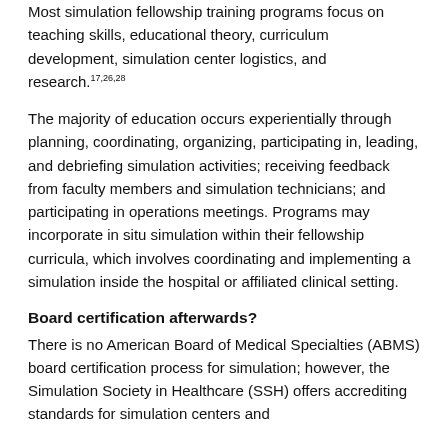Most simulation fellowship training programs focus on teaching skills, educational theory, curriculum development, simulation center logistics, and research.17,26,28
The majority of education occurs experientially through planning, coordinating, organizing, participating in, leading, and debriefing simulation activities; receiving feedback from faculty members and simulation technicians; and participating in operations meetings. Programs may incorporate in situ simulation within their fellowship curricula, which involves coordinating and implementing a simulation inside the hospital or affiliated clinical setting.
Board certification afterwards?
There is no American Board of Medical Specialties (ABMS) board certification process for simulation; however, the Simulation Society in Healthcare (SSH) offers accrediting standards for simulation centers and